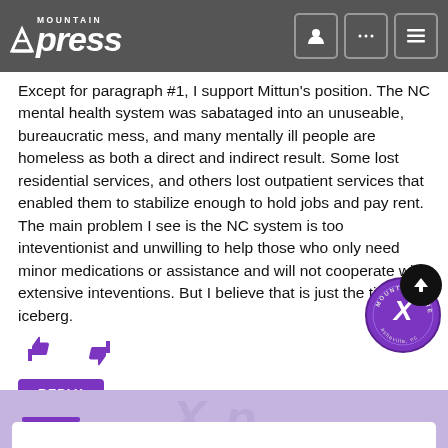Mountain Xpress
Except for paragraph #1, I support Mittun's position. The NC mental health system was sabataged into an unuseable, bureaucratic mess, and many mentally ill people are homeless as both a direct and indirect result. Some lost residential services, and others lost outpatient services that enabled them to stabilize enough to hold jobs and pay rent.
The main problem I see is the NC system is too inteventionist and unwilling to help those who only need minor medications or assistance and will not cooperate with extensive inteventions. But I believe that is just the tip of the iceberg.
[Figure (other): Thumbs up and thumbs down reaction icons in purple]
REPLY
[Figure (logo): Mountain Xpress circular stamp logo with back-to-top arrow]